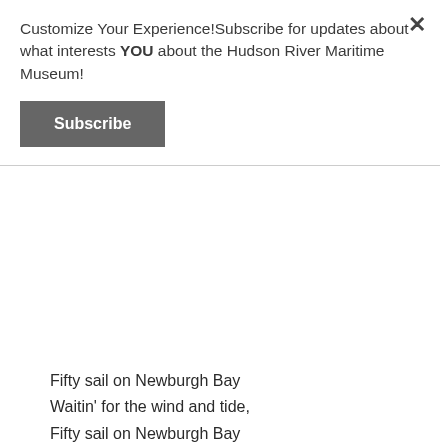Customize Your Experience!Subscribe for updates about what interests YOU about the Hudson River Maritime Museum!
Subscribe
Fifty sail on Newburgh Bay
Waitin' for the wind and tide,
Fifty sail on Newburgh Bay
With the anchors over the side.
The skippers all sit on the rail to yarn,
Same as farmers out by the old red barn,
The boys in skiffs have gone ashore
To ruckus outside the village store.
Fifty sail on Newburgh Bay
Waitin' for the wind and tide,
Fifty sail on Newburgh Bay